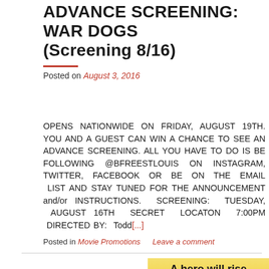WIN A CHANCE TO SEE AN ADVANCE SCREENING: WAR DOGS (Screening 8/16)
Posted on August 3, 2016
OPENS NATIONWIDE ON FRIDAY, AUGUST 19TH. YOU AND A GUEST CAN WIN A CHANCE TO SEE AN ADVANCE SCREENING. ALL YOU HAVE TO DO IS BE FOLLOWING @BFREESTLOUIS ON INSTAGRAM, TWITTER, FACEBOOK OR BE ON THE EMAIL LIST AND STAY TUNED FOR THE ANNOUNCEMENT and/or INSTRUCTIONS. SCREENING: TUESDAY, AUGUST 16TH SECRET LOCATON 7:00PM DIRECTED BY: Todd[...]
Posted in Movie Promotions   Leave a comment
[Figure (photo): Movie promotional image with yellow/gold background showing text 'A hero will rise' and partial view of a person's head at the bottom]